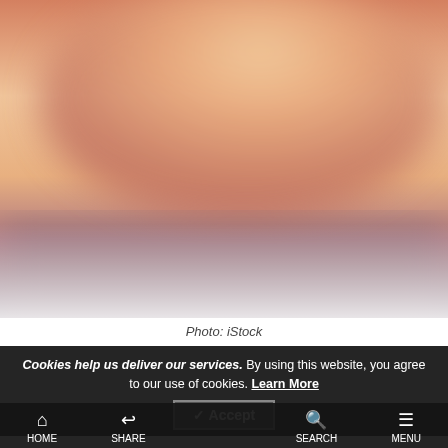[Figure (photo): Blurred abstract sunset/dusk photo with warm pink-orange tones transitioning to muted purple-grey at the bottom, attributed to iStock.]
Photo: iStock
Cookies help us deliver our services. By using this website, you agree to our use of cookies. Learn More
✓ Accept
HOME  SHARE  SEARCH  MENU